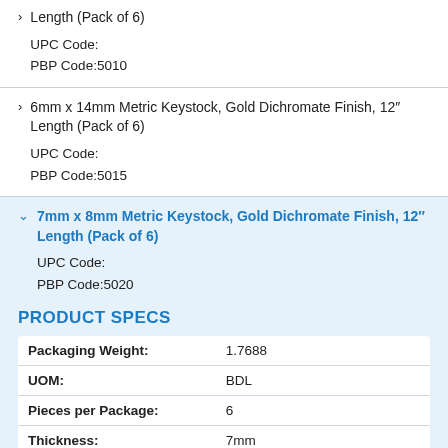Length (Pack of 6)
UPC Code:
PBP Code:5010
6mm x 14mm Metric Keystock, Gold Dichromate Finish, 12" Length (Pack of 6)
UPC Code:
PBP Code:5015
7mm x 8mm Metric Keystock, Gold Dichromate Finish, 12" Length (Pack of 6)
UPC Code:
PBP Code:5020
PRODUCT SPECS
|  |  |
| --- | --- |
| Packaging Weight: | 1.7688 |
| UOM: | BDL |
| Pieces per Package: | 6 |
| Thickness: | 7mm |
| Width: | 8mm |